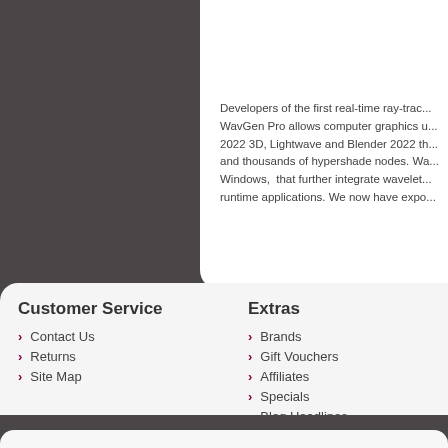[Figure (illustration): Colorful abstract graphic with pink, magenta, yellow and orange gradient feather-like shapes, cropped at top-right corner]
Developers of the first real-time ray-trac... WavGen Pro allows computer graphics u... 2022 3D, Lightwave and Blender 2022 th... and thousands of hypershade nodes. Wa... Windows,  that further integrate wavelet... runtime applications. We now have expo...
Customer Service
Contact Us
Returns
Site Map
Extras
Brands
Gift Vouchers
Affiliates
Specials
Blog Headlines